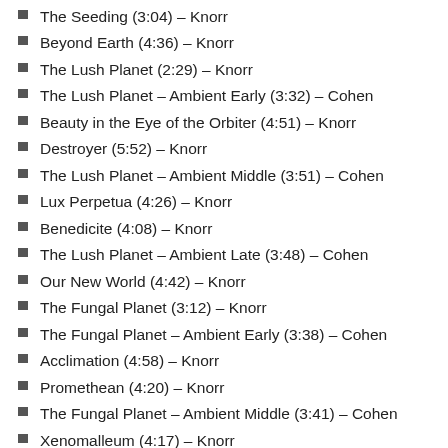The Seeding (3:04) – Knorr
Beyond Earth (4:36) – Knorr
The Lush Planet (2:29) – Knorr
The Lush Planet – Ambient Early (3:32) – Cohen
Beauty in the Eye of the Orbiter (4:51) – Knorr
Destroyer (5:52) – Knorr
The Lush Planet – Ambient Middle (3:51) – Cohen
Lux Perpetua (4:26) – Knorr
Benedicite (4:08) – Knorr
The Lush Planet – Ambient Late (3:48) – Cohen
Our New World (4:42) – Knorr
The Fungal Planet (3:12) – Knorr
The Fungal Planet – Ambient Early (3:38) – Cohen
Acclimation (4:58) – Knorr
Promethean (4:20) – Knorr
The Fungal Planet – Ambient Middle (3:41) – Cohen
Xenomalleum (4:17) – Knorr